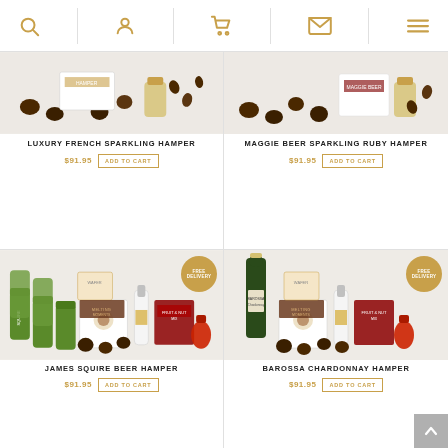Navigation icons: search, account, cart, email, menu
[Figure (photo): Luxury French Sparkling Hamper product photo showing chocolates and hamper items on light background]
LUXURY FRENCH SPARKLING HAMPER
$91.95  ADD TO CART
[Figure (photo): Maggie Beer Sparkling Ruby Hamper product photo showing chocolates and hamper items on light background]
MAGGIE BEER SPARKLING RUBY HAMPER
$91.95  ADD TO CART
[Figure (photo): James Squire Beer Hamper product photo showing canned beers, sauces, snacks and chocolates with FREE Delivery badge]
JAMES SQUIRE BEER HAMPER
$91.95  ADD TO CART
[Figure (photo): Barossa Chardonnay Hamper product photo showing wine bottle, sauces, snacks and chocolates with FREE Delivery badge]
BAROSSA CHARDONNAY HAMPER
$91.95  ADD TO CART